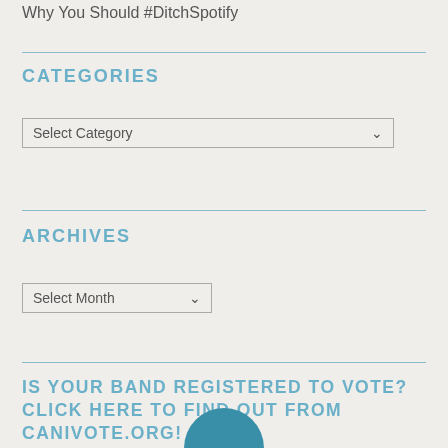Why You Should #DitchSpotify
CATEGORIES
Select Category
ARCHIVES
Select Month
IS YOUR BAND REGISTERED TO VOTE? CLICK HERE TO FIND OUT FROM CANIVOTE.ORG!